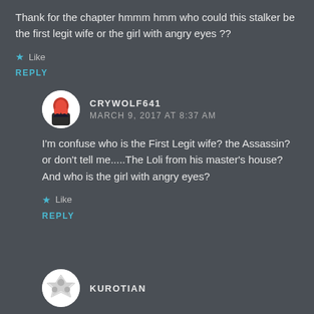Thank for the chapter hmmm hmm who could this stalker be the first legit wife or the girl with angry eyes ??
Like
REPLY
CRYWOLF641
MARCH 9, 2017 AT 8:37 AM
I'm confuse who is the First Legit wife? the Assassin? or don't tell me.....The Loli from his master's house? And who is the girl with angry eyes?
Like
REPLY
KUROTIAN